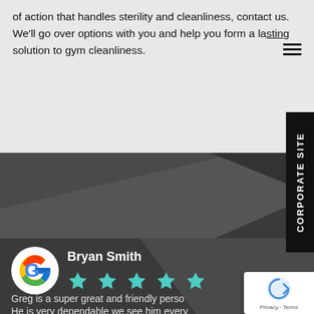of action that handles sterility and cleanliness, contact us. We'll go over options with you and help you form a lasting solution to gym cleanliness.
[Figure (screenshot): Dark diagonal decorative banner section with graphical overlapping shapes in dark gray tones]
[Figure (other): Corporate Site vertical tab label on right side, black background with white text rotated 90 degrees]
Bryan Smith
[Figure (other): Five teal/green star rating icons]
Greg is a super great and friendly perso
He is very dependable we see him every